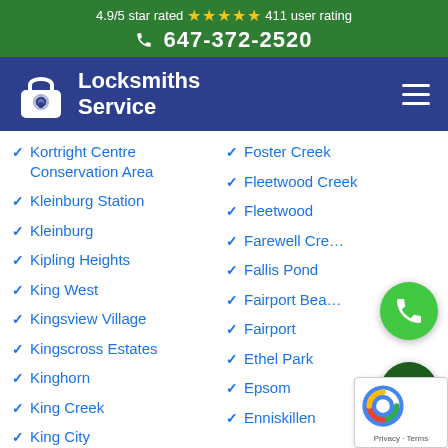4.9/5 star rated ★★★★★ 411 user rating
647-372-2520
[Figure (logo): Locksmiths Service logo with padlock icon on navy background]
Kortright Centre Conservation Area
Foster Creek
Kleinburg Station
Fleetwood Creek
Kleinburg
Fleetwood
Kipling Heights
Farewell Creek
King West
Fallis Pond
Kingsview Village
Fairport Beach
Kingscross Estates
Fairport
Kinghorn
Ethel Park
King Creek
Epsom
King City
Enniskillen
Enfield